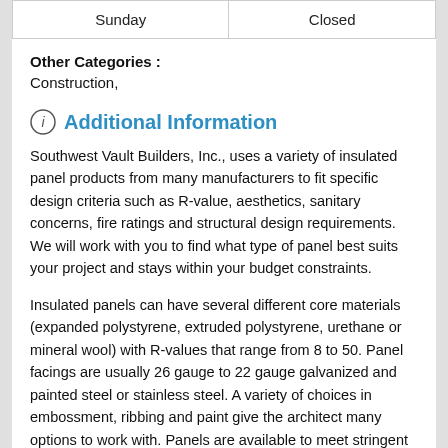| Sunday | Closed |
Other Categories :
Construction,
Additional Information
Southwest Vault Builders, Inc., uses a variety of insulated panel products from many manufacturers to fit specific design criteria such as R-value, aesthetics, sanitary concerns, fire ratings and structural design requirements. We will work with you to find what type of panel best suits your project and stays within your budget constraints.
Insulated panels can have several different core materials (expanded polystyrene, extruded polystyrene, urethane or mineral wool) with R-values that range from 8 to 50. Panel facings are usually 26 gauge to 22 gauge galvanized and painted steel or stainless steel. A variety of choices in embossment, ribbing and paint give the architect many options to work with. Panels are available to meet stringent